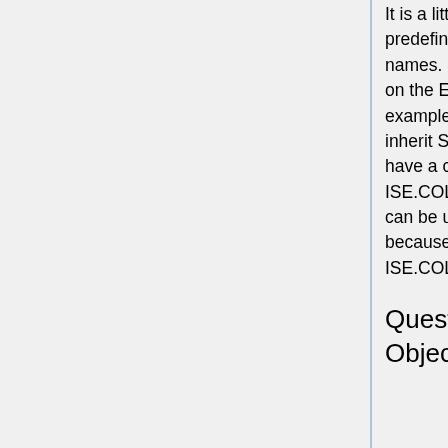It is a little bit difficult for simple input/output (used with predefined io) because some features have different names. If your original software heavily relies for example on the EiffelBase library, it may be very difficult. For example, one must keep in mind that SmartEiffel.ARRAY inherit SmartEiffel.COLLECTION and that ISE library also have a class COLLECTION. By the way, subclasses of ISE.COLLECTION cannot be used. The ISE.LINKED_LIST can be used in conjunction with SmartEiffel.ARRAY because ISE.LINKED_LIST do not inherit ISE.COLLECTION (no clash).
Questions about Languages and/or Object-Oriented Programming